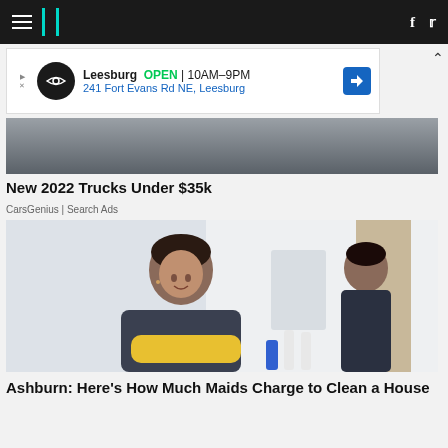HuffPost navigation
[Figure (photo): Advertisement banner: Leesburg OPEN 10AM-9PM, 241 Fort Evans Rd NE, Leesburg with directions icon]
New 2022 Trucks Under $35k
CarsGenius | Search Ads
[Figure (photo): Photo of a smiling woman in dark scrubs with yellow gloves crossed over her chest, another woman in background in a cleaning/healthcare setting]
Ashburn: Here's How Much Maids Charge to Clean a House